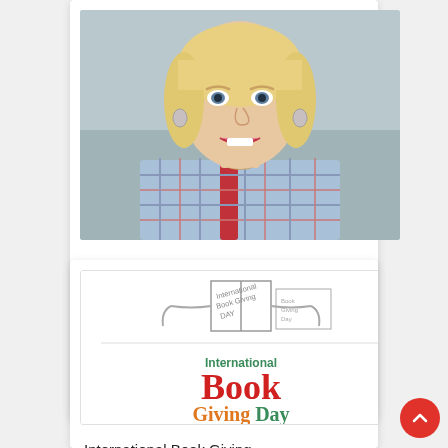[Figure (photo): Portrait photo of a smiling blonde woman wearing a plaid shirt and red backpack straps]
FABULOUS FIVE: Sarah McIntyre presents five comics crossover picture books
[Figure (illustration): International Book Giving Day logo with sketch drawing above showing books and the text 'International Book Giving Day' in red and orange/green]
International Book Giving Day!